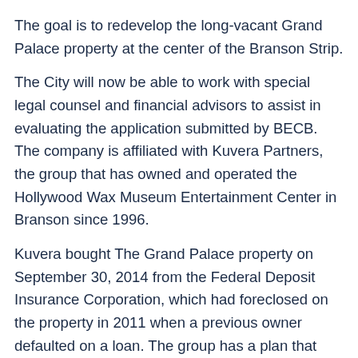The goal is to redevelop the long-vacant Grand Palace property at the center of the Branson Strip.
The City will now be able to work with special legal counsel and financial advisors to assist in evaluating the application submitted by BECB. The company is affiliated with Kuvera Partners, the group that has owned and operated the Hollywood Wax Museum Entertainment Center in Branson since 1996.
Kuvera bought The Grand Palace property on September 30, 2014 from the Federal Deposit Insurance Corporation, which had foreclosed on the property in 2011 when a previous owner defaulted on a loan. The group has a plan that they believe is the best option for revitalizing the property.
“We’ve engaged leading master planners and travel and tourism research experts who have extensively studied this